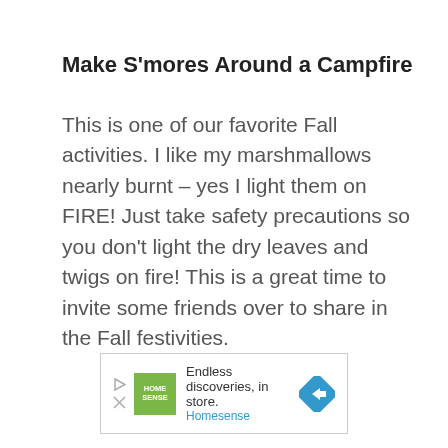Make S'mores Around a Campfire
This is one of our favorite Fall activities. I like my marshmallows nearly burnt – yes I light them on FIRE! Just take safety precautions so you don't light the dry leaves and twigs on fire! This is a great time to invite some friends over to share in the Fall festivities.
[Figure (other): Homesense advertisement banner: play and close icons on left, green Homesense logo square, tagline 'Endless discoveries, in store.' with 'Homesense' in blue below, and a blue diamond-shaped arrow icon on the right.]